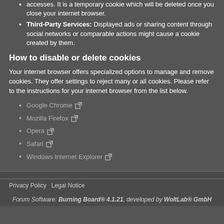accesses. It is a temporary cookie which will be deleted once you close your internet browser.
Third-Party Services: Displayed ads or sharing content through social networks or comparable actions might cause a cookie created by them.
How to disable or delete cookies
Your internet browser offers specialized options to manage and remove cookies. They offer settings to reject many or all cookies. Please refer to the instructions for your internet browser from the list below.
Google Chrome
Mozilla Firefox
Opera
Safari
Windows Internet Explorer
Privacy Policy  Legal Notice
Forum Software: Burning Board® 4.1.21, developed by WoltLab® GmbH